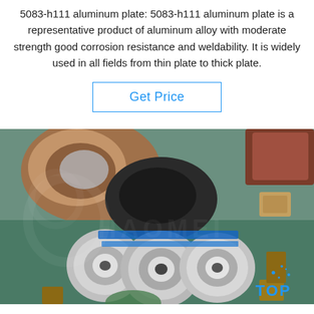5083-h111 aluminum plate: 5083-h111 aluminum plate is a representative product of aluminum alloy with moderate strength good corrosion resistance and weldability. It is widely used in all fields from thin plate to thick plate.
Get Price
[Figure (photo): Photo of aluminum coil rolls wrapped in plastic and tape, placed on a teal/green surface with wooden supports and brown cardboard packaging visible, with a watermark overlay and 'TOP' logo with sparkles in bottom right corner.]